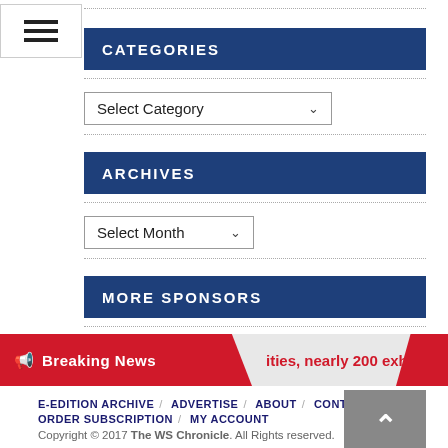[Figure (other): Hamburger menu icon with three horizontal bars]
CATEGORIES
[Figure (other): Select Category dropdown]
ARCHIVES
[Figure (other): Select Month dropdown]
MORE SPONSORS
Breaking News   ities, nearly 200 exhibitors – Tria
E-EDITION ARCHIVE / ADVERTISE / ABOUT / CONTACT US / ORDER SUBSCRIPTION / MY ACCOUNT
Copyright © 2017 The WS Chronicle. All Rights reserved. Site design by LinTaylor Marketing Group.